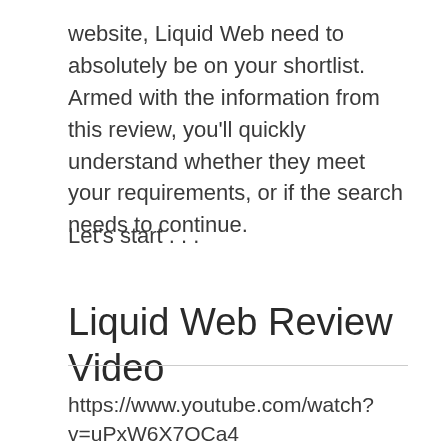website, Liquid Web need to absolutely be on your shortlist. Armed with the information from this review, you'll quickly understand whether they meet your requirements, or if the search needs to continue.
Let's start . . .
Liquid Web Review Video
https://www.youtube.com/watch?v=uPxW6X7OCa4